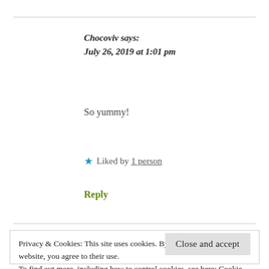Chocoviv says:
July 26, 2019 at 1:01 pm
So yummy!
★ Liked by 1 person
Reply
Privacy & Cookies: This site uses cookies. By continuing to use this website, you agree to their use.
To find out more, including how to control cookies, see here: Cookie Policy
Close and accept